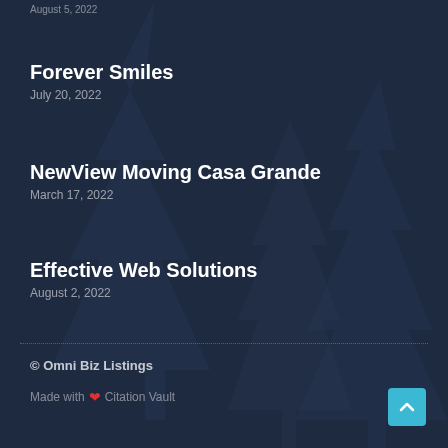August 5, 2022
Forever Smiles
July 20, 2022
NewView Moving Casa Grande
March 17, 2022
Effective Web Solutions
August 2, 2022
© Omni Biz Listings
Made with ❤ Citation Vault